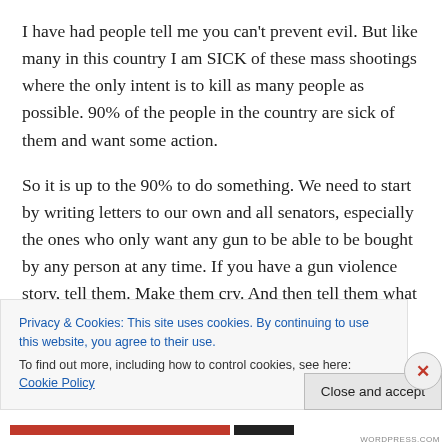I have had people tell me you can't prevent evil. But like many in this country I am SICK of these mass shootings where the only intent is to kill as many people as possible. 90% of the people in the country are sick of them and want some action.
So it is up to the 90% to do something. We need to start by writing letters to our own and all senators, especially the ones who only want any gun to be able to be bought by any person at any time. If you have a gun violence story, tell them. Make them cry. And then tell them what
Privacy & Cookies: This site uses cookies. By continuing to use this website, you agree to their use.
To find out more, including how to control cookies, see here: Cookie Policy
Close and accept